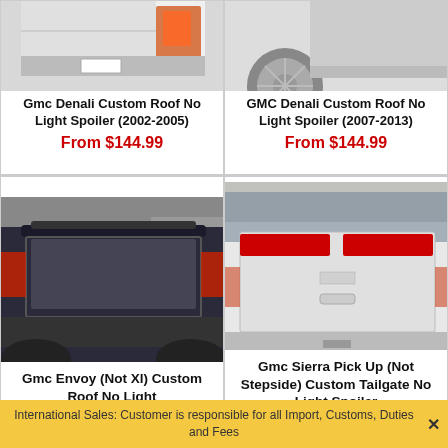[Figure (photo): Partial rear view of a GMC Denali showing taillights - top portion of image cut off]
Gmc Denali Custom Roof No Light Spoiler (2002-2005)
From $144.99
[Figure (photo): Partial rear view of a GMC Denali showing wheel and rear - top portion of image cut off]
GMC Denali Custom Roof No Light Spoiler (2007-2013)
From $144.99
[Figure (photo): Rear view of a dark-colored GMC Envoy SUV with a roof spoiler installed]
Gmc Envoy (Not Xl) Custom Roof No Light
[Figure (photo): Rear view of a white GMC Sierra pickup truck tailgate with a red spoiler/light bar installed]
Gmc Sierra Pick Up (Not Stepside) Custom Tailgate No Light Spoiler
International Sales: Customer is responsible for all Import, Customs, Duties and Fees